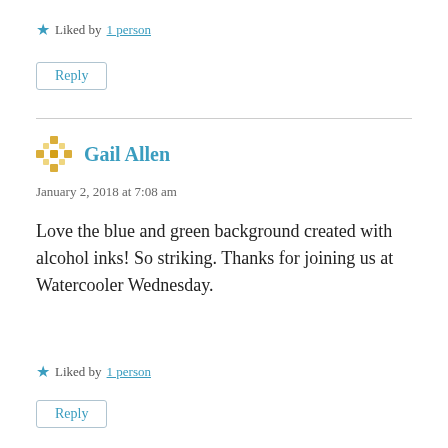★ Liked by 1 person
Reply
Gail Allen
January 2, 2018 at 7:08 am
Love the blue and green background created with alcohol inks! So striking. Thanks for joining us at Watercooler Wednesday.
★ Liked by 1 person
Reply